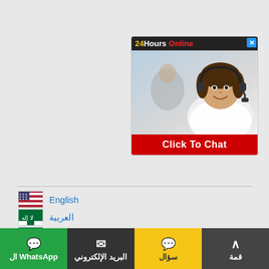[Figure (screenshot): 24Hours Online customer support chat widget with a photo of a smiling woman with a headset, and a red 'Click To Chat' button]
English
العربية
বাংলা
Wikang Filipino
Deutsch
हिन्दी; हिंदी
Русский
ภาษาไทย
[Figure (infographic): Bottom navigation bar with four sections: WhatsApp (green), البريد الإلكتروني/Email (dark), سؤال/Question (yellow), قمة/Top (dark gray)]